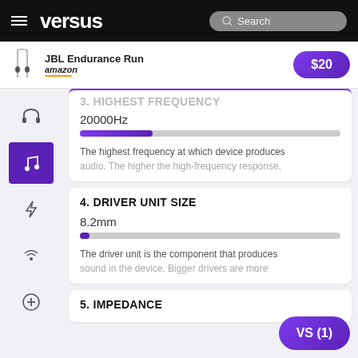versus
JBL Endurance Run — $20 on amazon
3. HIGHEST FREQUENCY
20000Hz
The highest frequency at which device produces audio. The higher the high-frequency response,
4. DRIVER UNIT SIZE
8.2mm
The driver unit is the component that produces sound in the device. Bigger drivers are more
5. IMPEDANCE